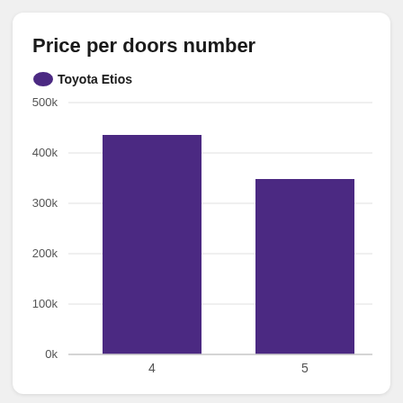[Figure (bar-chart): Price per doors number]